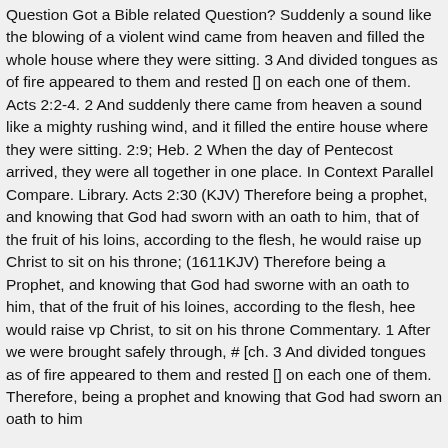Question Got a Bible related Question? Suddenly a sound like the blowing of a violent wind came from heaven and filled the whole house where they were sitting. 3 And divided tongues as of fire appeared to them and rested [] on each one of them. Acts 2:2-4. 2 And suddenly there came from heaven a sound like a mighty rushing wind, and it filled the entire house where they were sitting. 2:9; Heb. 2 When the day of Pentecost arrived, they were all together in one place. In Context Parallel Compare. Library. Acts 2:30 (KJV) Therefore being a prophet, and knowing that God had sworn with an oath to him, that of the fruit of his loins, according to the flesh, he would raise up Christ to sit on his throne; (1611KJV) Therefore being a Prophet, and knowing that God had sworne with an oath to him, that of the fruit of his loines, according to the flesh, hee would raise vp Christ, to sit on his throne Commentary. 1 After we were brought safely through, # [ch. 3 And divided tongues as of fire appeared to them and rested [] on each one of them. Therefore, being a prophet and knowing that God had sworn an oath to him